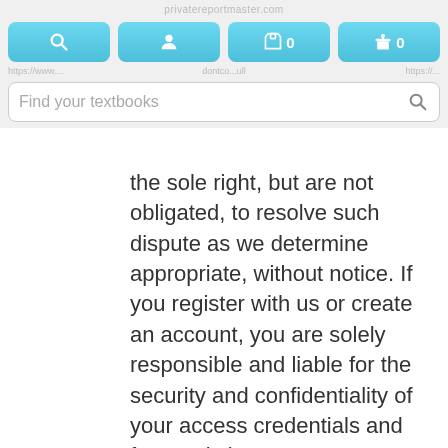Navigation bar with search, account, cart (0), and rewards (0) buttons; search field: Find your textbooks
the sole right, but are not obligated, to resolve such dispute as we determine appropriate, without notice. If you register with us or create an account, you are solely responsible and liable for the security and confidentiality of your access credentials and for restricting access to your Device and for all activity under your account. Usernames and passwords must be personal and unique, not violate the rights of any person or entity, and not be offensive. We may reject the use of any password, username, or email address for